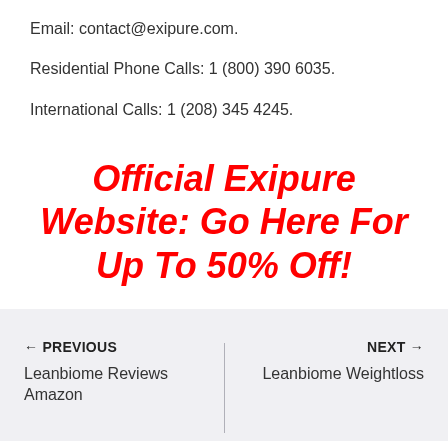Email: contact@exipure.com.
Residential Phone Calls: 1 (800) 390 6035.
International Calls: 1 (208) 345 4245.
Official Exipure Website: Go Here For Up To 50% Off!
← PREVIOUS
Leanbiome Reviews Amazon
NEXT →
Leanbiome Weightloss